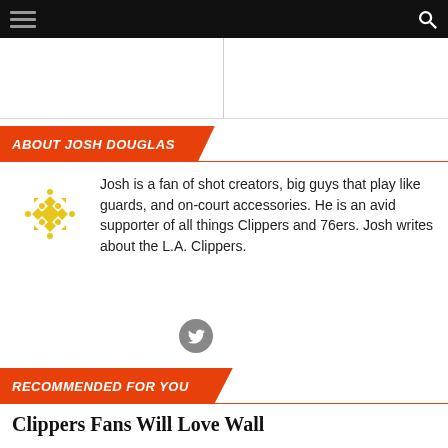Navigation bar with hamburger menu and search icon
ABOUT JOSH DOUGLAS
Josh is a fan of shot creators, big guys that play like guards, and on-court accessories. He is an avid supporter of all things Clippers and 76ers. Josh writes about the L.A. Clippers.
RECOMMENDED FOR YOU
Clippers Fans Will Love Wall
[Figure (screenshot): California Psychics advertisement: $1/ per minute* for new customers, Sign up now button]